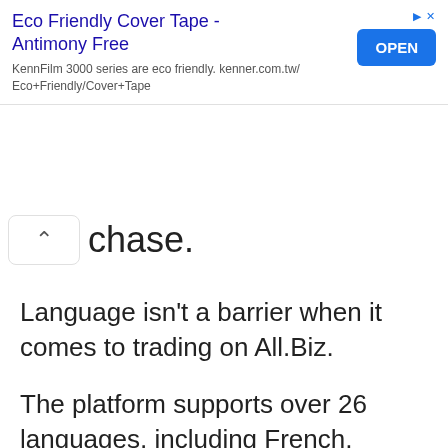[Figure (screenshot): Advertisement banner for Eco Friendly Cover Tape - Antimony Free by KennFilm 3000 series. kenner.com.tw/Eco+Friendly/Cover+Tape. Has an OPEN button on the right.]
chase.
Language isn't a barrier when it comes to trading on All.Biz.
The platform supports over 26 languages, including French, Spanish, German, and Dutch.
It is user-friendly and displays product prices in your local currency to help you stay within your budget and keep track of